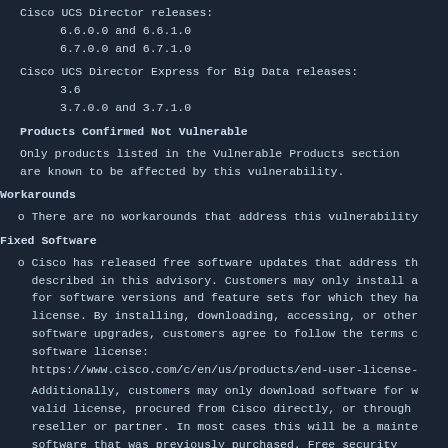Cisco UCS Director releases:
6.6.0.0 and 6.6.1.0
6.7.0.0 and 6.7.1.0
Cisco UCS Director Express for Big Data releases:
3.6
3.7.0.0 and 3.7.1.0
Products Confirmed Not Vulnerable
Only products listed in the Vulnerable Products section
are known to be affected by this vulnerability.
Workarounds
o  There are no workarounds that address this vulnerability
Fixed Software
o  Cisco has released free software updates that address th
   described in this advisory. Customers may only install a
   for software versions and feature sets for which they ha
   license. By installing, downloading, accessing, or other
   software upgrades, customers agree to follow the terms c
   software license:
   https://www.cisco.com/c/en/us/products/end-user-license-
Additionally, customers may only download software for w
   valid license, procured from Cisco directly, or through
   reseller or partner. In most cases this will be a mainte
   software that was previously purchased. Free security